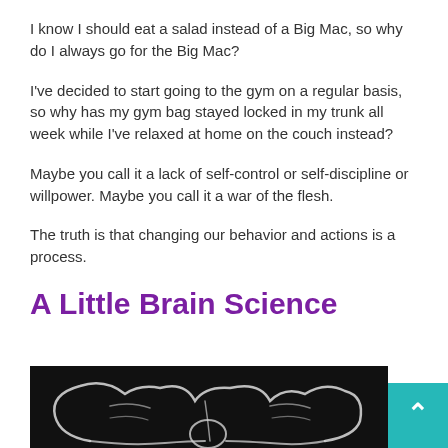I know I should eat a salad instead of a Big Mac, so why do I always go for the Big Mac?
I've decided to start going to the gym on a regular basis, so why has my gym bag stayed locked in my trunk all week while I've relaxed at home on the couch instead?
Maybe you call it a lack of self-control or self-discipline or willpower. Maybe you call it a war of the flesh.
The truth is that changing our behavior and actions is a process.
A Little Brain Science
[Figure (photo): Black and white chalk drawing of brain lobes on a dark chalkboard background]